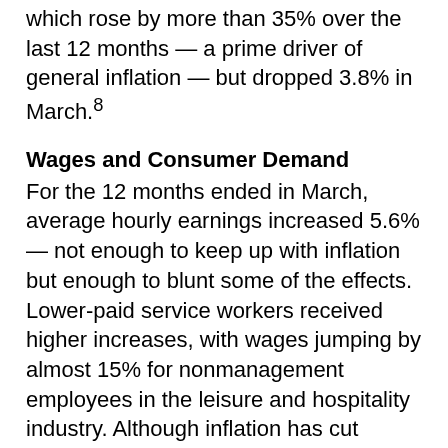which rose by more than 35% over the last 12 months — a prime driver of general inflation — but dropped 3.8% in March.⁸
Wages and Consumer Demand
For the 12 months ended in March, average hourly earnings increased 5.6% — not enough to keep up with inflation but enough to blunt some of the effects. Lower-paid service workers received higher increases, with wages jumping by almost 15% for nonmanagement employees in the leisure and hospitality industry. Although inflation has cut deeply into wage gains over the last year, wages have increased at about the same rate as inflation over the two-year period of the pandemic.⁹
One of the big questions going forward is whether rising wages will enable consumers to continue to pay higher prices, which can lead to an inflationary